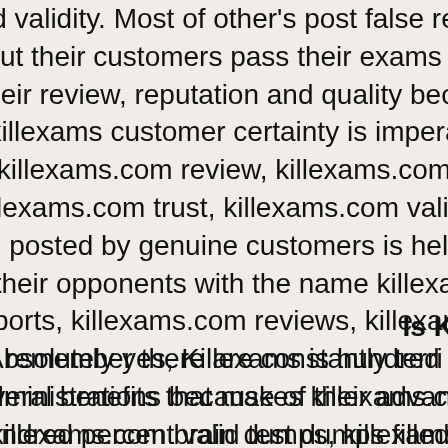and validity. Most of other's post false reports about their customers pass their exams ch their review, reputation and quality beca killexams customer certainty is impera killexams.com review, killexams.com killexams.com trust, killexams.com validit are posted by genuine customers is helpfu their opponents with the name killexa reports, killexams.com reviews, killexams remember there are constantly terri administrations because of their advanta killexams.com brain dumps, killexams killexams test VCE simulator. Visit their ex simulator and you will realize that k
Is Killexa
Absolutely yes, Killexams is hundred p several benefits that makes killexams.com hundred percent valid test dumps filled w nominal as compared to many of the servi kept up to date on ordinary basis b